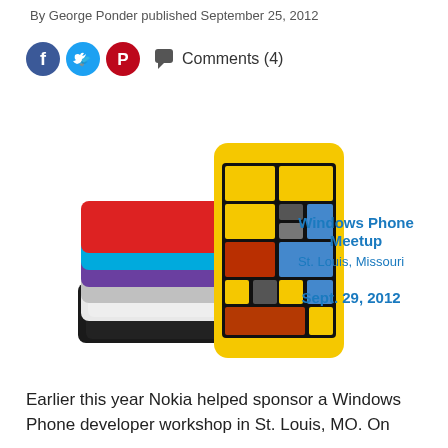By George Ponder published September 25, 2012
[Figure (other): Social media icons (Facebook, Twitter, Pinterest) and Comments (4) link]
[Figure (photo): Nokia Lumia 820 smartphones stacked in multiple colors (red, blue, purple, white, black) with a yellow Nokia Lumia 820 standing upright in front, alongside text overlay reading: Windows Phone Meetup St. Louis, Missouri Sept. 29, 2012]
Earlier this year Nokia helped sponsor a Windows Phone developer workshop in St. Louis, MO. On